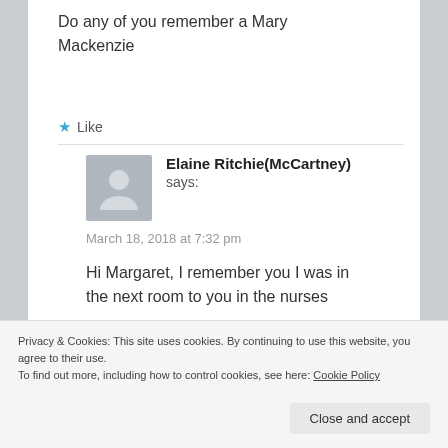Do any of you remember a Mary Mackenzie
Like
Elaine Ritchie(McCartney) says:
March 18, 2018 at 7:32 pm
Hi Margaret, I remember you I was in the next room to you in the nurses
Privacy & Cookies: This site uses cookies. By continuing to use this website, you agree to their use.
To find out more, including how to control cookies, see here: Cookie Policy
Close and accept